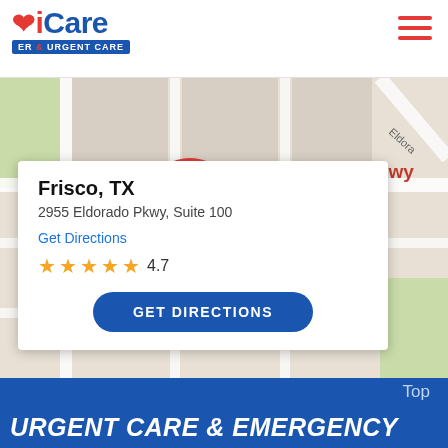[Figure (logo): iCare ER & Urgent Care logo with red heart icon and blue text]
[Figure (map): Google Maps screenshot showing location pin at 2955 Eldorado Pkwy, Suite 100, Frisco TX with map card overlay showing address, Get Directions link, 4.7 star rating, and GET DIRECTIONS button]
Top
URGENT CARE & EMERGENCY